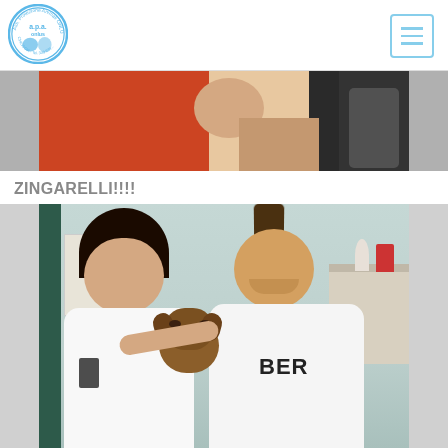Ass. Protezione Animali ONLUS - a.p.a. onlus Chioggia
[Figure (photo): Top portion of a photo showing two people, one in a red/orange shirt and one in a dark outfit, partially cropped]
ZINGARELLI!!!!
[Figure (photo): A couple (woman with dark hair in white t-shirt and man with mohawk in white tank top) holding a small puppy dog, smiling at the camera. Indoor setting with shelves and decorations visible in background.]